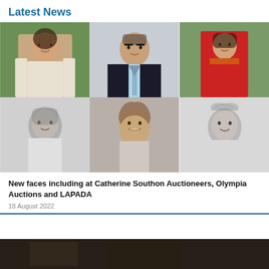Latest News
[Figure (photo): Grid of six portrait photos: top row has a young woman in white jacket outdoors, a middle-aged man in dark suit and tie, a young woman in red sari; bottom row has a grey-haired man in black and white, a young man with curly hair smiling, and an older woman smiling in black and white.]
New faces including at Catherine Southon Auctioneers, Olympia Auctions and LAPADA
18 August 2022
[Figure (photo): Partial view of a dark interior scene at the bottom of the page.]